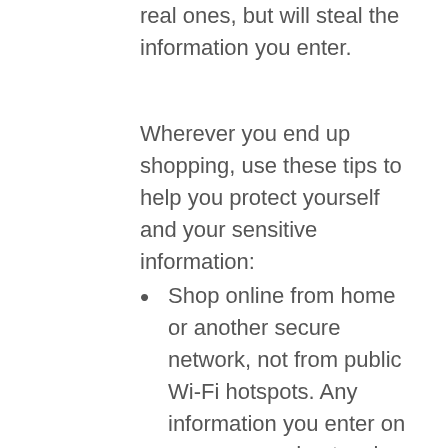real ones, but will steal the information you enter.
Wherever you end up shopping, use these tips to help you protect yourself and your sensitive information:
Shop online from home or another secure network, not from public Wi-Fi hotspots. Any information you enter on an unsecured network could be snatched by a talented hacker.
Look for https:// at the beginning of the web address before you enter any personal information